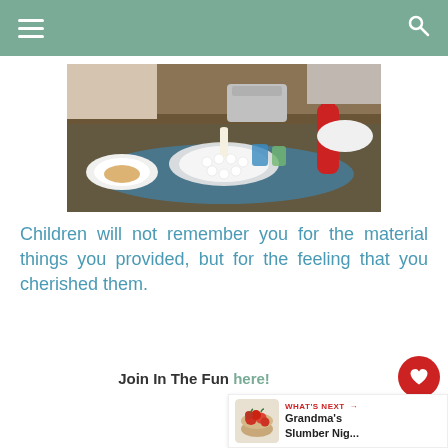Navigation bar with hamburger menu and search icon
[Figure (photo): Photo of a dining table with food, plates, cups, and blue table cloth, taken from above at a gathering]
Children will not remember you for the material things you provided, but for the feeling that you cherished them.
Join In The Fun here!
[Figure (infographic): WHAT'S NEXT arrow label with thumbnail of bowl of red tomatoes and text: Grandma's Slumber Nig...]